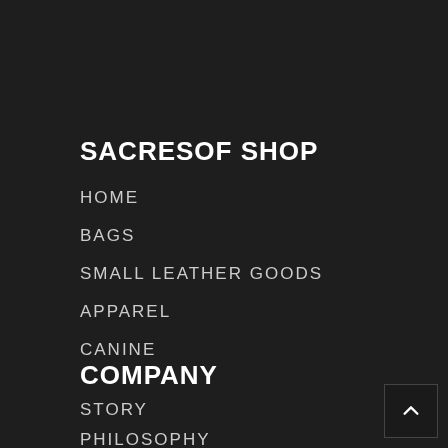SACRESOF SHOP
HOME
BAGS
SMALL LEATHER GOODS
APPAREL
CANINE
COMPANY
STORY
PHILOSOPHY